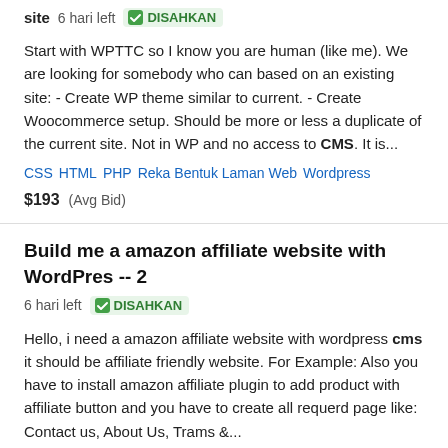site  6 hari left  DISAHKAN
Start with WPTTC so I know you are human (like me). We are looking for somebody who can based on an existing site: - Create WP theme similar to current. - Create Woocommerce setup. Should be more or less a duplicate of the current site. Not in WP and no access to CMS. It is...
CSS  HTML  PHP  Reka Bentuk Laman Web  Wordpress
$193  (Avg Bid)
Build me a amazon affiliate website with WordPres -- 2  6 hari left  DISAHKAN
Hello, i need a amazon affiliate website with wordpress cms it should be affiliate friendly website. For Example: Also you have to install amazon affiliate plugin to add product with affiliate button and you have to create all requerd page like: Contact us, About Us, Trams &...
Perancangan Gabungan  HTML  PHP  Reka Bentuk...